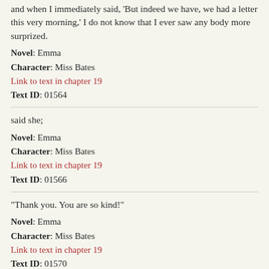and when I immediately said, 'But indeed we have, we had a letter this very morning,' I do not know that I ever saw any body more surprized.
Novel: Emma
Character: Miss Bates
Link to text in chapter 19
Text ID: 01564
said she;
Novel: Emma
Character: Miss Bates
Link to text in chapter 19
Text ID: 01566
"Thank you. You are so kind!"
Novel: Emma
Character: Miss Bates
Link to text in chapter 19
Text ID: 01570
"Oh! here it is. I was sure it could not be far off; but I had put my